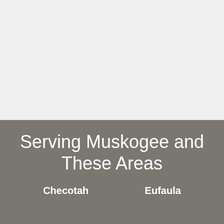drooping plants and cracking furniture.
If any of these signs sound like what you are undergoing with your air conditioner, it might be time to start looking into a new system. We will work with you to ensure you are getting the new system or air conditioner service that makes most sense for you and your home comfort needs. Call us at 918-682-8238 and speak with one of our professionals.
Serving Muskogee and These Areas
Checotah
Eufaula